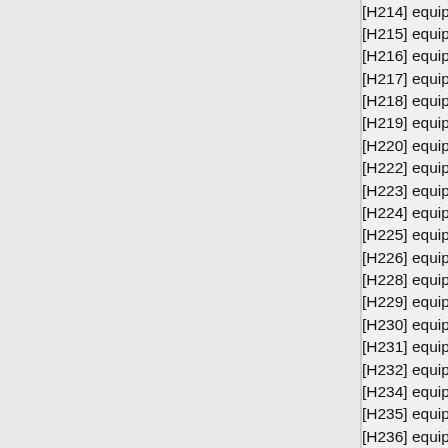[H214] equipment test services/guided missiles
[H215] equipment test services/aircraft
[H216] equipment test services/aircraft components
[H217] equipment test services/aircraft ground equipment
[H218] equipment test services/space vehicles
[H219] equipment test services/ships-small craft-
[H220] equipment test services/ship & marine equipment
[H222] equipment test services/railway equipment
[H223] equipment test services/vehicles-trailers-cycles
[H224] equipment test services/tractors
[H225] equipment test services/vehicular equipment
[H226] equipment test services/tires & tubes
[H228] equipment test services/engines & turbines
[H229] equipment test services/engine accessories
[H230] equipment test services/mechanical power
[H231] equipment test services/bearings
[H232] equipment test services/woodworking machinery
[H234] equipment test services/metalwork machinery
[H235] equipment test services/service & trade equipment
[H236] equipment test services/sp industry machinery
[H237] equipment test services/agriculture machinery
[H238] equipment test services/control equipment
[H239] equipment test services/materials handling
[H240] equipment test services/rope-cable-chain
[H241] equipment test services/refrigeration - ac
[H242] equipment test services/fire-rescue-safety
[H243] equipment test services/pumps & compressors
[H244] equipment test services/furnace-nuclear
[H245] equipment test services/plumbing-heating